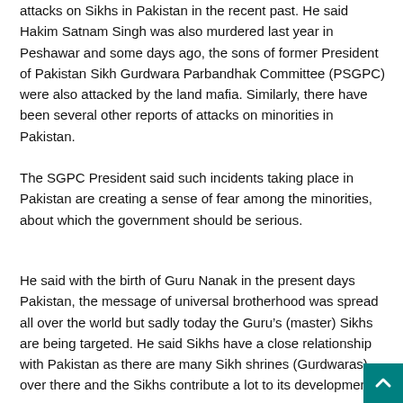attacks on Sikhs in Pakistan in the recent past. He said Hakim Satnam Singh was also murdered last year in Peshawar and some days ago, the sons of former President of Pakistan Sikh Gurdwara Parbandhak Committee (PSGPC) were also attacked by the land mafia. Similarly, there have been several other reports of attacks on minorities in Pakistan.
The SGPC President said such incidents taking place in Pakistan are creating a sense of fear among the minorities, about which the government should be serious.
He said with the birth of Guru Nanak in the present days Pakistan, the message of universal brotherhood was spread all over the world but sadly today the Guru’s (master) Sikhs are being targeted. He said Sikhs have a close relationship with Pakistan as there are many Sikh shrines (Gurdwaras) over there and the Sikhs contribute a lot to its development.